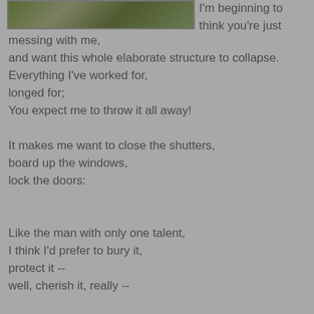[Figure (photo): Partial photo of an outdoor nature scene with green/brown foliage, cropped at top of page]
I'm beginning to think you're just messing with me,
and want this whole elaborate structure to collapse.
Everything I've worked for,
longed for;
You expect me to throw it all away!

It makes me want to close the shutters,
board up the windows,
lock the doors:


Like the man with only one talent,
I think I'd prefer to bury it,
protect it --
well, cherish it, really --

Do you seriously expect me to gamble
everything I have
on some divine illusion?